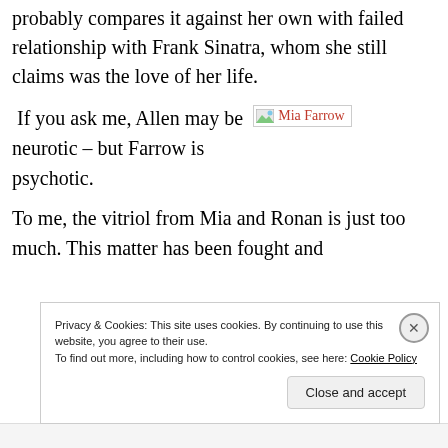probably compares it against her own with failed relationship with Frank Sinatra, whom she still claims was the love of her life.
If you ask me, Allen may be neurotic – but Farrow is psychotic.
[Figure (photo): Broken image placeholder with text 'Mia Farrow' in red]
To me, the vitriol from Mia and Ronan is just too much. This matter has been fought and
Privacy & Cookies: This site uses cookies. By continuing to use this website, you agree to their use.
To find out more, including how to control cookies, see here: Cookie Policy